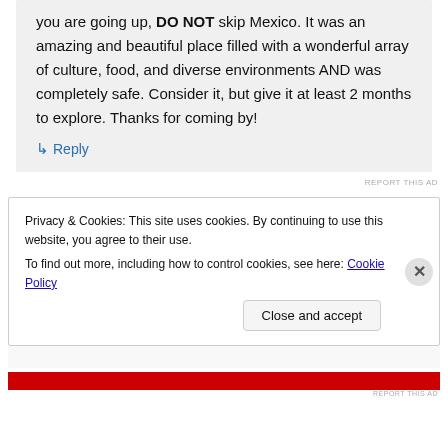you are going up, DO NOT skip Mexico. It was an amazing and beautiful place filled with a wonderful array of culture, food, and diverse environments AND was completely safe. Consider it, but give it at least 2 months to explore. Thanks for coming by!
↳ Reply
REPORT THIS AD
Privacy & Cookies: This site uses cookies. By continuing to use this website, you agree to their use. To find out more, including how to control cookies, see here: Cookie Policy
Close and accept